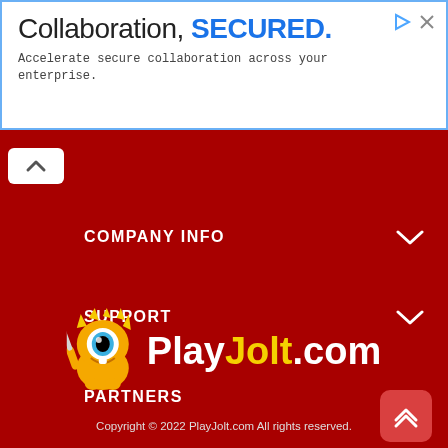[Figure (screenshot): Advertisement banner: 'Collaboration, SECURED.' with subtitle 'Accelerate secure collaboration across your enterprise.']
COMPANY INFO
SUPPORT
PARTNERS
[Figure (logo): PlayJolt.com logo with cartoon mascot character]
Copyright © 2022 PlayJolt.com All rights reserved.